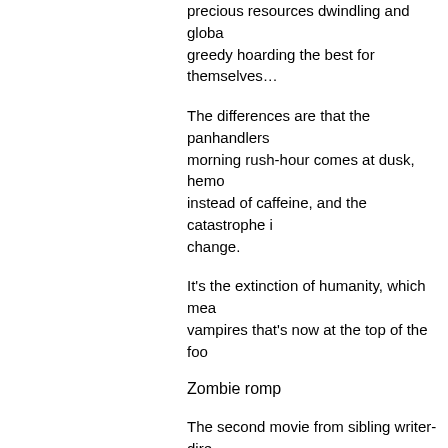precious resources dwindling and globa… greedy hoarding the best for themselves…
The differences are that the panhandlers… morning rush-hour comes at dusk, hemo… instead of caffeine, and the catastrophe i… change.
It's the extinction of humanity, which mea… vampires that's now at the top of the foo…
Zombie romp
The second movie from sibling writer-dire… Spierig, who cut their feature teeth on the… is another in a seemingly endless series… vampire genre.
At least vampire tales such as TV's "True… "Thirst" are playful and sexy, and stuff su… fun of.
But "Daybreakers" plays like a dirge, stri… note of gloom, a dramatic flatline that ba… uninspired action-and-gore sequences.
It has a hazy back story about how most…